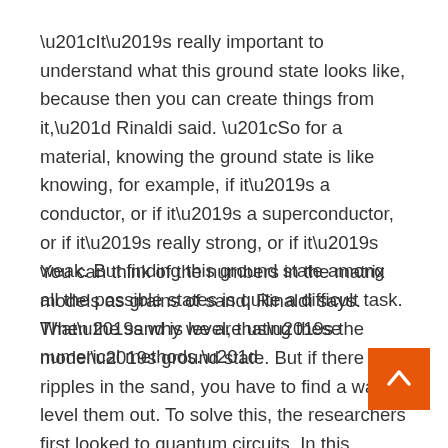“It’s really important to understand what this ground state looks like, because then you can create things from it,” Rinaldi said. “So for a material, knowing the ground state is like knowing, for example, if it’s a conductor, or if it’s a superconductor, or if it’s really strong, or if it’s weak. But finding this ground state among all the possible states is quite a difficult task. That’s why we are using these numerical methods.”
You can think of the numbers in the matrix models as grains of sand, Rinaldi says. When the sand is level, that’s the model’s ground state. But if there are ripples in the sand, you have to find a way to level them out. To solve this, the researchers first looked to quantum circuits. In this method, the quantum circuits are represented by wires, and each qubit, or bit of quantum